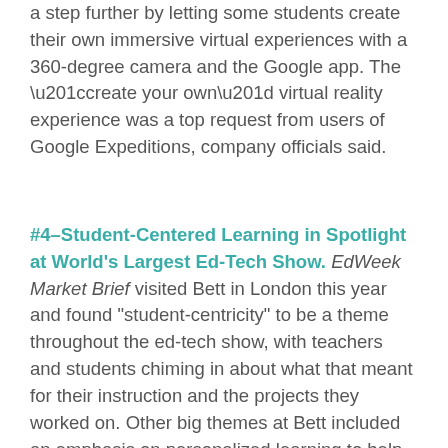a step further by letting some students create their own immersive virtual experiences with a 360-degree camera and the Google app. The “create your own” virtual reality experience was a top request from users of Google Expeditions, company officials said.
#4–Student-Centered Learning in Spotlight at World’s Largest Ed-Tech Show. EdWeek Market Brief visited Bett in London this year and found “student-centricity” to be a theme throughout the ed-tech show, with teachers and students chiming in about what that meant for their instruction and the projects they worked on. Other big themes at Bett included an emphasis on personalized learning to help students improve cognition and skill development, and a